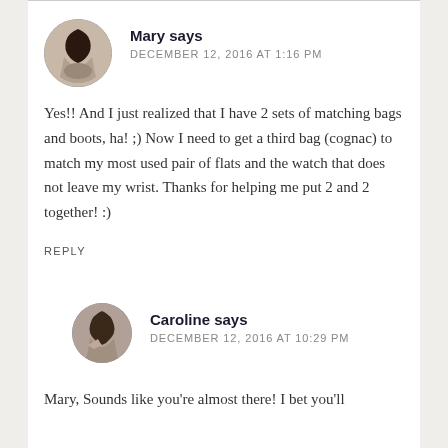Mary says DECEMBER 12, 2016 AT 1:16 PM
Yes!! And I just realized that I have 2 sets of matching bags and boots, ha! ;) Now I need to get a third bag (cognac) to match my most used pair of flats and the watch that does not leave my wrist. Thanks for helping me put 2 and 2 together! :)
REPLY
Caroline says DECEMBER 12, 2016 AT 10:29 PM
Mary, Sounds like you're almost there! I bet you'll